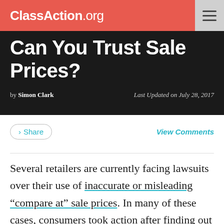ClassAction.org
Can You Trust Sale Prices?
by Simon Clark   Last Updated on July 28, 2017
> Share   View Comments
Several retailers are currently facing lawsuits over their use of inaccurate or misleading “compare at” sale prices. In many of these cases, consumers took action after finding out that products they bought were